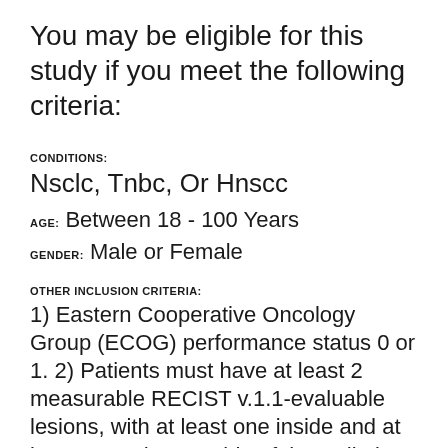You may be eligible for this study if you meet the following criteria:
CONDITIONS:
Nsclc, Tnbc, Or Hnscc
AGE: Between 18 - 100 Years
GENDER: Male or Female
OTHER INCLUSION CRITERIA:
1) Eastern Cooperative Oncology Group (ECOG) performance status 0 or 1. 2) Patients must have at least 2 measurable RECIST v.1.1-evaluable lesions, with at least one inside and at least one other outside of the radiation field. 3) The tumor outside the radiation field must be